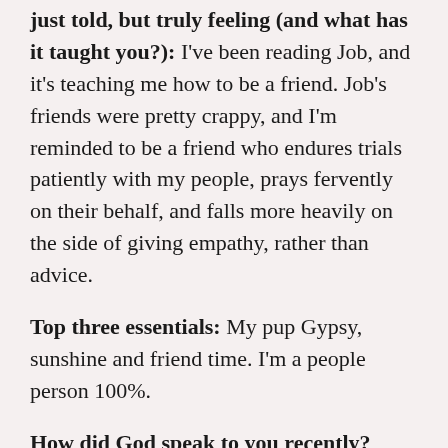just told, but truly feeling (and what has it taught you?): I've been reading Job, and it's teaching me how to be a friend. Job's friends were pretty crappy, and I'm reminded to be a friend who endures trials patiently with my people, prays fervently on their behalf, and falls more heavily on the side of giving empathy, rather than advice.
Top three essentials: My pup Gypsy, sunshine and friend time. I'm a people person 100%.
How did God speak to you recently? Through a worship session (surprise, surprise). He was stirring in my heart that revival and healing is contagious. That if I want to see revival in my family, my city, this world... it needs to start with me. I need to be intimate with God and allow Him to heal the deepest wounds of my soul so that I can be a vessel for His Spirit to bring healing to